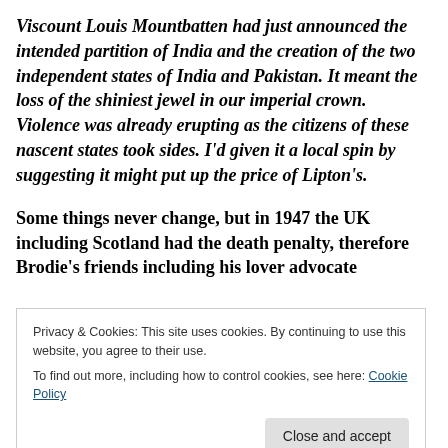Viscount Louis Mountbatten had just announced the intended partition of India and the creation of the two independent states of India and Pakistan. It meant the loss of the shiniest jewel in our imperial crown. Violence was already erupting as the citizens of these nascent states took sides. I'd given it a local spin by suggesting it might put up the price of Lipton's.
Some things never change, but in 1947 the UK including Scotland had the death penalty, therefore Brodie's friends including his lover advocate
Privacy & Cookies: This site uses cookies. By continuing to use this website, you agree to their use.
To find out more, including how to control cookies, see here: Cookie Policy
Close and accept
else for whom embezzlement is a way of life in order